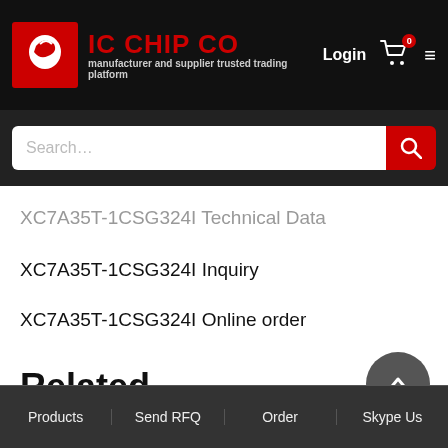IC CHIP CO — manufacturer and supplier trusted trading platform
XC7A35T-1CSG324I Technical Data
XC7A35T-1CSG324I Inquiry
XC7A35T-1CSG324I Online order
Related Products
Products  Send RFQ  Order  Skype Us